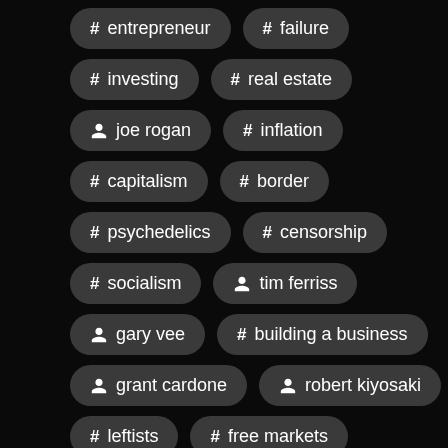# entrepreneur
# failure
# investing
# real estate
person joe rogan
# inflation
# capitalism
# border
# psychedelics
# censorship
# socialism
person tim ferriss
person gary vee
# building a business
person grant cardone
person robert kiyosaki
# leftists
# free markets